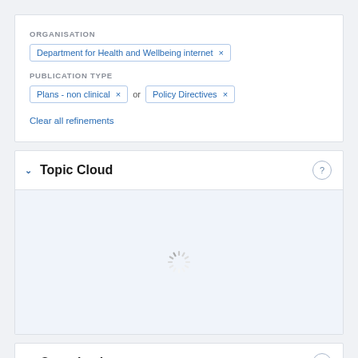ORGANISATION
Department for Health and Wellbeing internet ×
PUBLICATION TYPE
Plans - non clinical × or Policy Directives ×
Clear all refinements
Topic Cloud
[Figure (other): Loading spinner icon indicating content is being loaded]
Organisation